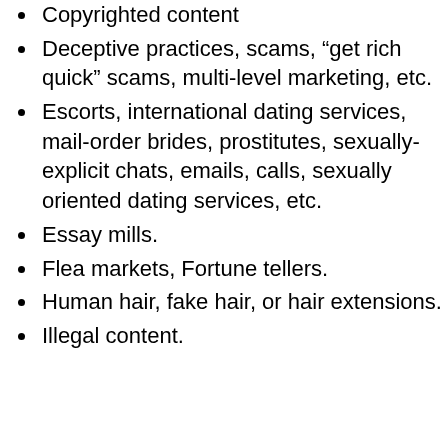Copyrighted content
Deceptive practices, scams, “get rich quick” scams, multi-level marketing, etc.
Escorts, international dating services, mail-order brides, prostitutes, sexually-explicit chats, emails, calls, sexually oriented dating services, etc.
Essay mills.
Flea markets, Fortune tellers.
Human hair, fake hair, or hair extensions.
Illegal content.